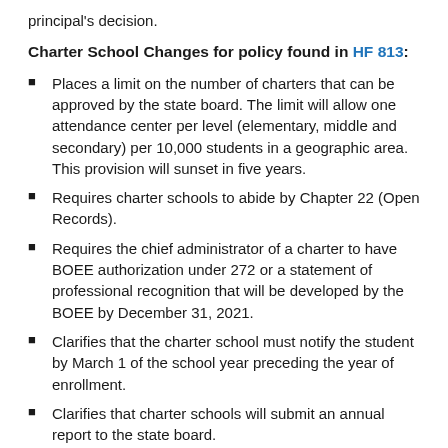principal's decision.
Charter School Changes for policy found in HF 813:
Places a limit on the number of charters that can be approved by the state board. The limit will allow one attendance center per level (elementary, middle and secondary) per 10,000 students in a geographic area. This provision will sunset in five years.
Requires charter schools to abide by Chapter 22 (Open Records).
Requires the chief administrator of a charter to have BOEE authorization under 272 or a statement of professional recognition that will be developed by the BOEE by December 31, 2021.
Clarifies that the charter school must notify the student by March 1 of the school year preceding the year of enrollment.
Clarifies that charter schools will submit an annual report to the state board.